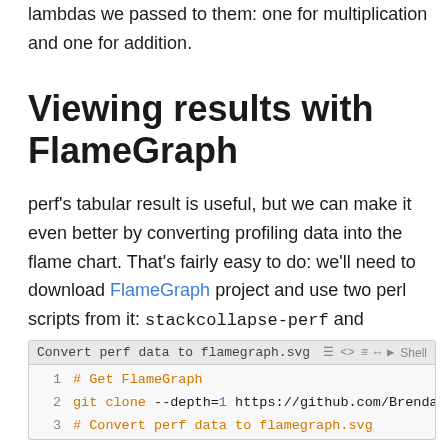lambdas we passed to them: one for multiplication and one for addition.
Viewing results with FlameGraph
perf's tabular result is useful, but we can make it even better by converting profiling data into the flame chart. That's fairly easy to do: we'll need to download FlameGraph project and use two perl scripts from it: stackcollapse-perf and flamegraph:
[Figure (screenshot): Code block titled 'Convert perf data to flamegraph.svg' with Shell language tag. Lines: 1: # Get FlameGraph, 2: git clone --depth=1 https://github.com/BrendanGregg/Fla..., 3: # Convert perf data to flamegraph.svg, 4: sudo perf script | FlameGraph/stackcollapse-perf.pl | F...]
As I'm running a headless Ubuntu machine, it would be